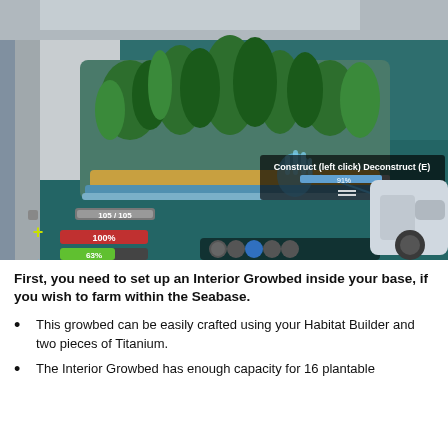[Figure (screenshot): In-game screenshot from Subnautica showing an Interior Growbed with green plants growing inside a seabase. HUD elements visible in lower left corner showing health, food, water bars (105/105, 100%, 63%, 98%). A tooltip reads 'Construct (left click) Deconstruct (E)' with 91% progress bar. Player is holding a builder tool in the lower right. Inventory hotbar visible at bottom center.]
First, you need to set up an Interior Growbed inside your base, if you wish to farm within the Seabase.
This growbed can be easily crafted using your Habitat Builder and two pieces of Titanium.
The Interior Growbed has enough capacity for 16 plantable